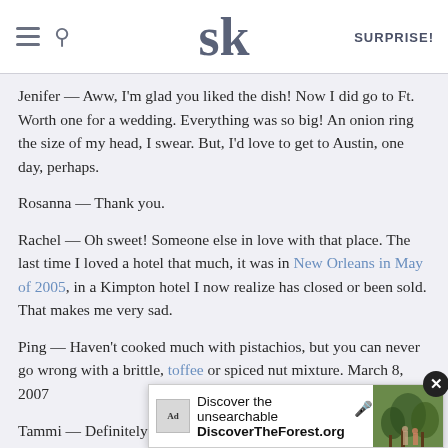SK | SURPRISE!
Jenifer — Aww, I'm glad you liked the dish! Now I did go to Ft. Worth one for a wedding. Everything was so big! An onion ring the size of my head, I swear. But, I'd love to get to Austin, one day, perhaps.
Rosanna — Thank you.
Rachel — Oh sweet! Someone else in love with that place. The last time I loved a hotel that much, it was in New Orleans in May of 2005, in a Kimpton hotel I now realize has closed or been sold. That makes me very sad.
Ping — Haven't cooked much with pistachios, but you can never go wrong with a brittle, toffee or spiced nut mixture. March 8, 2007
Tammi — Definitely good for a future weekend trip. We try to get to random cities sometimes, to hold us over for the vacati... ge financi... 're
[Figure (screenshot): Ad banner for DiscoverTheForest.org showing 'Discover the unsearchable' with microphone icon and photo of people in a forest, with an X close button]